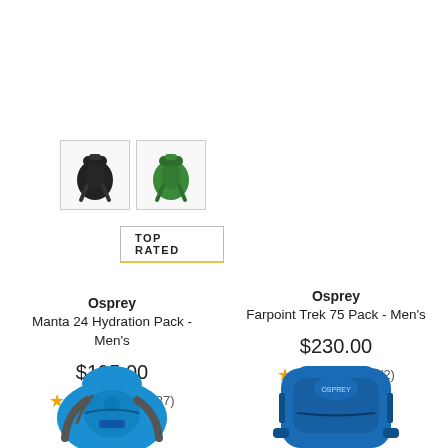[Figure (photo): Two small thumbnail images of backpacks in black and green colors with border boxes]
TOP RATED
Osprey
Manta 24 Hydration Pack - Men's
$195.00
★★★★½ (37)
Osprey
Farpoint Trek 75 Pack - Men's
$230.00
★★★★★ (2)
[Figure (photo): Blue Osprey Manta 24 Hydration Pack backpack shown from the front]
[Figure (photo): Blue Osprey Farpoint Trek 75 Pack shown from the front]